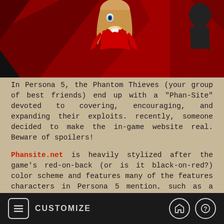[Figure (illustration): Anime-style artwork from Persona 5 showing a female character with blonde hair in a red and black color scheme]
In Persona 5, the Phantom Thieves (your group of best friends) end up with a "Phan-Site" devoted to covering, encouraging, and expanding their exploits. recently, someone decided to make the in-game website real. Beware of spoilers!
Phansite.net is heavily stylized after the game's red-on-back (or is it black-on-red?) color scheme and features many of the features characters in Persona 5 mention, such as a poll asking in-game questions (today's is "Is Medjed just?"), the ability to leave a comment on the site's main page for everyone to see (some of which are NSFW), and a working message board.
Many of the site's posters seem to be posting in-character,
CUSTOMIZE